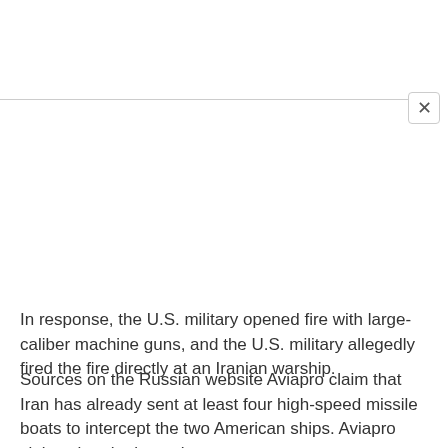[Figure (other): Close button (X) UI element in top-right area of a modal or overlay panel, with a horizontal divider line below it]
In response, the U.S. military opened fire with large-caliber machine guns, and the U.S. military allegedly fired the fire directly at an Iranian warship.
Sources on the Russian website Aviapro claim that Iran has already sent at least four high-speed missile boats to intercept the two American ships. Aviapro claims that the boats have